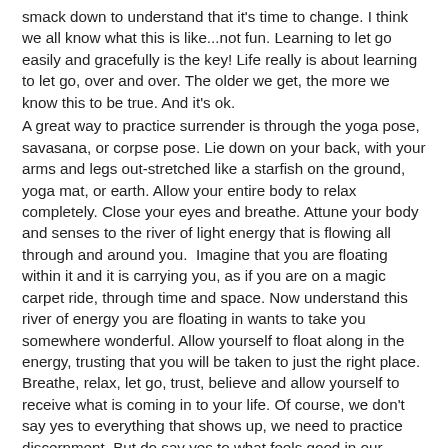smack down to understand that it's time to change. I think we all know what this is like...not fun. Learning to let go easily and gracefully is the key! Life really is about learning to let go, over and over. The older we get, the more we know this to be true. And it's ok.
A great way to practice surrender is through the yoga pose, savasana, or corpse pose. Lie down on your back, with your arms and legs out-stretched like a starfish on the ground, yoga mat, or earth. Allow your entire body to relax completely. Close your eyes and breathe. Attune your body and senses to the river of light energy that is flowing all through and around you.  Imagine that you are floating within it and it is carrying you, as if you are on a magic carpet ride, through time and space. Now understand this river of energy you are floating in wants to take you somewhere wonderful. Allow yourself to float along in the energy, trusting that you will be taken to just the right place. Breathe, relax, let go, trust, believe and allow yourself to receive what is coming in to your life. Of course, we don't say yes to everything that shows up, we need to practice discernment. But do say yes to what feels good in our hearts when we check in with ourselves. Sure, change can be a little scary because we don't know where we are going and